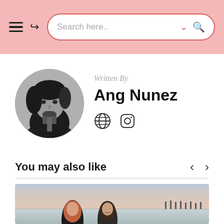Search here..
Written By
Ang Nunez
[Figure (photo): Circular black and white profile photo of Ang Nunez holding a wine glass]
[Figure (infographic): Globe icon and Instagram icon social links]
You may also like
[Figure (photo): Two women at a beach at dusk, sky with soft colors]